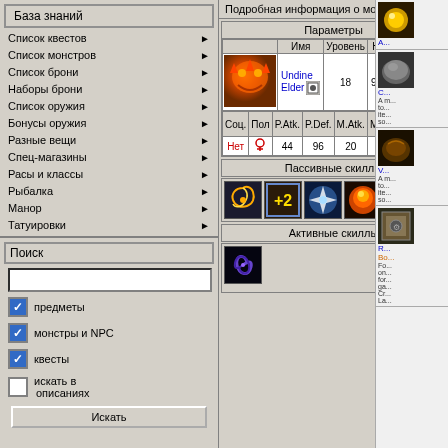База знаний
Список квестов
Список монстров
Список брони
Наборы брони
Список оружия
Бонусы оружия
Разные вещи
Спец-магазины
Расы и классы
Рыбалка
Манор
Татуировки
Поиск
предметы
монстры и NPC
квесты
искать в описаниях
Подробная информация о монстре/НПС
| Имя | Уровень | HP | MP | Опыт |
| --- | --- | --- | --- | --- |
| Undine Elder | 18 | 953 | 194 | 4,048 |
| Соц. | Пол | P.Atk. | P.Def. | M.Atk. | M.Def. | Тип атаки | Радиус атаки | Скорость атаки |
| --- | --- | --- | --- | --- | --- | --- | --- | --- |
| Нет |  | 44 | 96 | 20 | 71 |  | 40 | 253 |
Пассивные скиллы
Активные скиллы